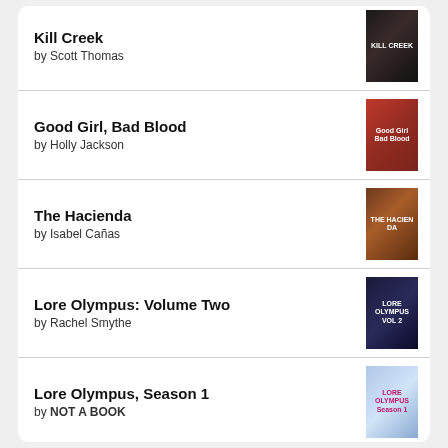Kill Creek by Scott Thomas
Good Girl, Bad Blood by Holly Jackson
The Hacienda by Isabel Cañas
Lore Olympus: Volume Two by Rachel Smythe
Lore Olympus, Season 1 by NOT A BOOK
[Figure (logo): Goodreads logo button]